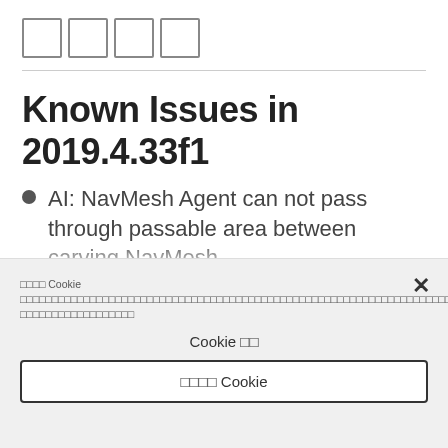□□□□
Known Issues in 2019.4.33f1
AI: NavMesh Agent can not pass through passable area between carving NavMesh
□□□□ Cookie □□□□□□□□□□□□□□□□□□□□□□□□□□□□□□□□□□□□□□□□□□□□□□□□□□□□□□□□□□□□□□□□□□□□□□□□□□□□□□□□□□□□□□□□□□□
Cookie □□
□□□□ Cookie